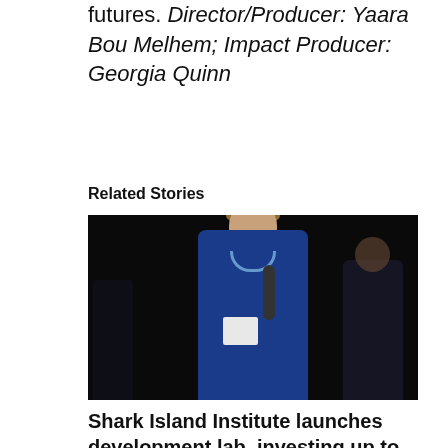futures. Director/Producer: Yaara Bou Melhem; Impact Producer: Georgia Quinn
Related Stories
[Figure (photo): A woman in a blue dress holding a microphone and papers, smiling, speaking at an event against a dark background with audience members visible in the background.]
Shark Island Institute launches development lab, investing up to